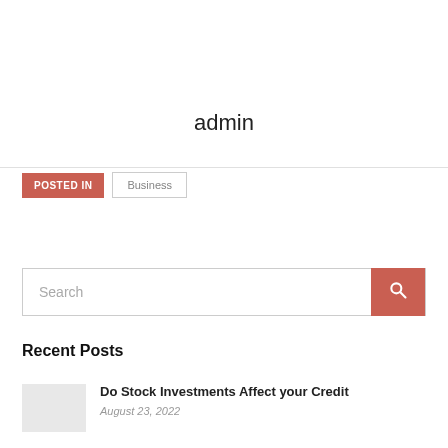admin
POSTED IN  Business
Search
Recent Posts
Do Stock Investments Affect your Credit
August 23, 2022